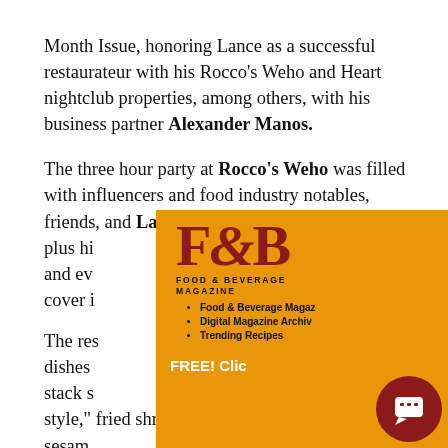Month Issue, honoring Lance as a successful restaurateur with his Rocco's Weho and Heart nightclub properties, among others, with his business partner Alexander Manos.
The three hour party at Rocco's Weho was filled with influencers and food industry notables, friends, and Lance's [obscured] ort, plus his [obscured] os, and ev[obscured] the cover is[obscured]
[Figure (screenshot): Food & Beverage Magazine popup overlay with orange background, F&B logo, navigation links, and 'FREE! Click...' button; overlapping dark blue 'Access your FREE Subscription to the Go-...' panel; white chat popup from asset management team; red circular chat button in bottom right.]
The res[obscured] dishes [obscured] stack sh[obscured] style," fried shrimp cocktail, black and white sesame shrimp, and their signature Penna Anna Pasta (Garlic Oil, Sauteed Mushrooms, Black Olives, and Feta Cheese.)